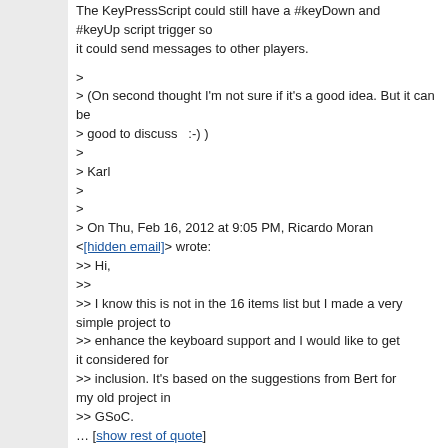The KeyPressScript could still have a #keyDown and #keyUp script trigger so it could send messages to other players.
>
> (On second thought I'm not sure if it's a good idea. But it can be
> good to discuss  :-) )
>
> Karl
>
>
> On Thu, Feb 16, 2012 at 9:05 PM, Ricardo Moran <[hidden email]> wrote:
>> Hi,
>>
>> I know this is not in the 16 items list but I made a very simple project to
>> enhance the keyboard support and I would like to get it considered for
>> inclusion. It's based on the suggestions from Bert for my old project in
>> GSoC.
… [show rest of quote]
squeakland mailing list
[hidden email]
http://lists.squeakland.org/mailman/listinfo/squeakland